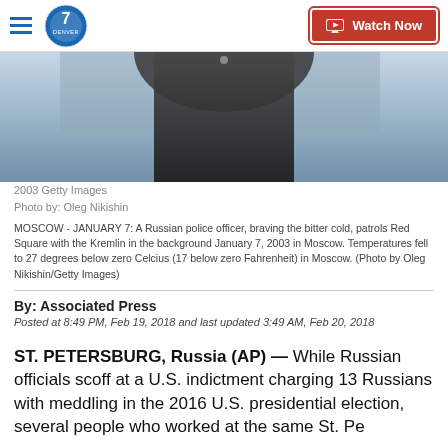Denver7 — Watch Now
[Figure (photo): Partial view of a Russian police officer in dark uniform against a blurred background of sky and water]
2003 Getty Images
Photo by: Oleg Nikishin

MOSCOW - JANUARY 7: A Russian police officer, braving the bitter cold, patrols Red Square with the Kremlin in the background January 7, 2003 in Moscow. Temperatures fell to 27 degrees below zero Celcius (17 below zero Fahrenheit) in Moscow. (Photo by Oleg Nikishin/Getty Images)
By: Associated Press
Posted at 8:49 PM, Feb 19, 2018 and last updated 3:49 AM, Feb 20, 2018
ST. PETERSBURG, Russia (AP) — While Russian officials scoff at a U.S. indictment charging 13 Russians with meddling in the 2016 U.S. presidential election, several people who worked at the same St. Petersburg "troll factory" say they think the original...